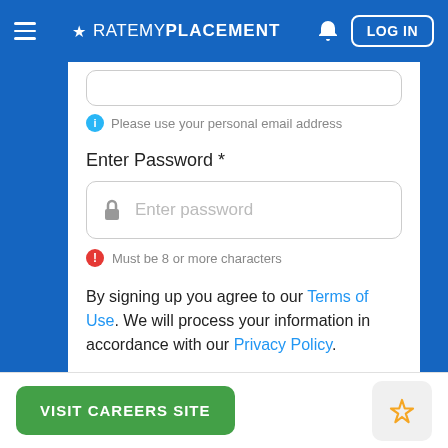≡ ★ RATEMYPLACEMENT 🔔 LOG IN
Please use your personal email address
Enter Password *
[Figure (screenshot): Password input field with lock icon and placeholder text 'Enter password']
Must be 8 or more characters
By signing up you agree to our Terms of Use. We will process your information in accordance with our Privacy Policy.
CREATE AN ACCOUNT
VISIT CAREERS SITE